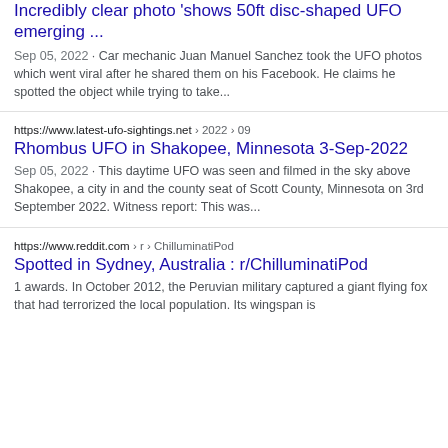Incredibly clear photo 'shows 50ft disc-shaped UFO emerging ...
Sep 05, 2022 · Car mechanic Juan Manuel Sanchez took the UFO photos which went viral after he shared them on his Facebook. He claims he spotted the object while trying to take...
https://www.latest-ufo-sightings.net › 2022 › 09
Rhombus UFO in Shakopee, Minnesota 3-Sep-2022
Sep 05, 2022 · This daytime UFO was seen and filmed in the sky above Shakopee, a city in and the county seat of Scott County, Minnesota on 3rd September 2022. Witness report: This was...
https://www.reddit.com › r › ChilluminatiPod
Spotted in Sydney, Australia : r/ChilluminatiPod
1 awards. In October 2012, the Peruvian military captured a giant flying fox that had terrorized the local population. Its wingspan is